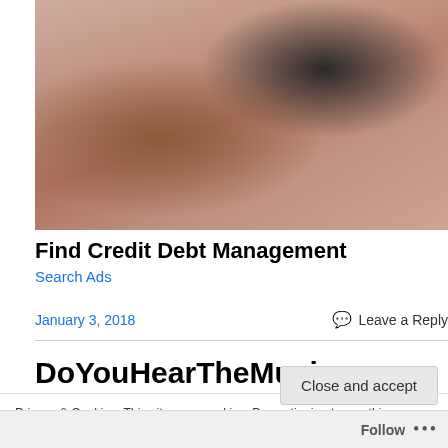[Figure (photo): A woman holding a credit card and talking on a phone, cropped close-up showing hands and face.]
Find Credit Debt Management
Search Ads
January 3, 2018
Leave a Reply
DoYouHearTheMusic.com –
Privacy & Cookies: This site uses cookies. By continuing to use this website, you agree to their use.
To find out more, including how to control cookies, see here: Cookie Policy
Close and accept
Follow